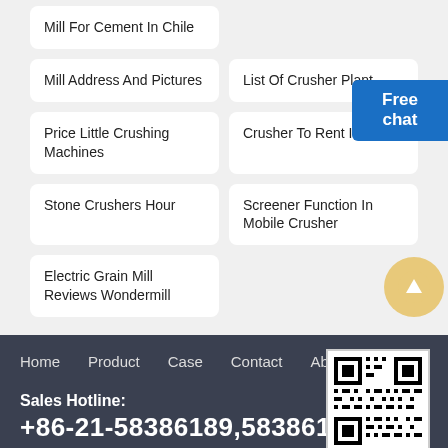Mill For Cement In Chile
Mill Address And Pictures
List Of Crusher Plant
Price Little Crushing Machines
Crusher To Rent In South
Stone Crushers Hour
Screener Function In Mobile Crusher
Electric Grain Mill Reviews Wondermill
Free chat
Home   Product   Case   Contact   About
Sales Hotline:
+86-21-58386189,58386176